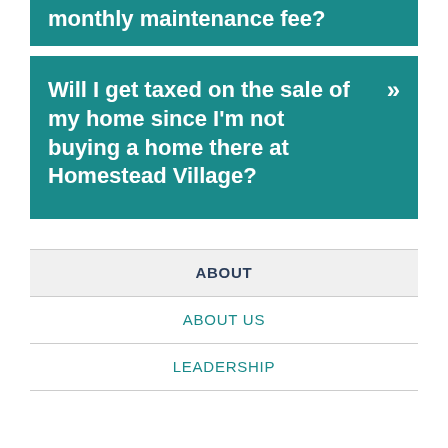monthly maintenance fee?
Will I get taxed on the sale of my home since I'm not buying a home there at Homestead Village?
ABOUT
ABOUT US
LEADERSHIP